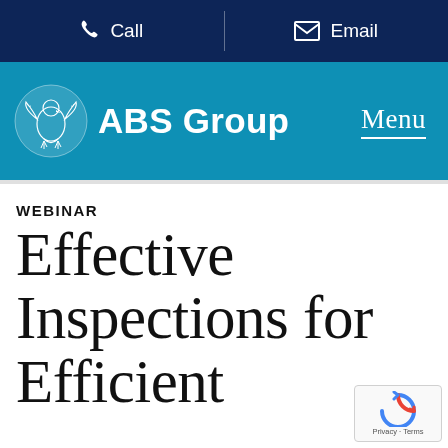Call   Email
[Figure (logo): ABS Group logo with eagle emblem on teal background, with Menu button]
WEBINAR
Effective Inspections for Efficient